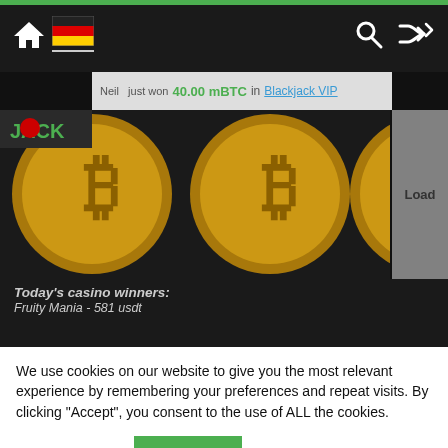[Figure (screenshot): Navigation bar with home icon, German flag icon, search icon, and shuffle icon on dark background with green top bar]
[Figure (screenshot): Bitcoin casino banner showing gold bitcoin coins with a notification overlay reading '40.00 mBTC in Blackjack VIP' and a Load button on the right]
Today's casino winners: Fruity Mania - 581 usdt Holmes and the Stolen Stones - 381 bch Fantasy Fortune - 392 bch
We use cookies on our website to give you the most relevant experience by remembering your preferences and repeat visits. By clicking “Accept”, you consent to the use of ALL the cookies.
Cookie settings
ACCEPT